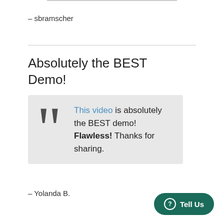– sbramscher
Absolutely the BEST Demo!
This video is absolutely the BEST demo! Flawless! Thanks for sharing.
– Yolanda B.